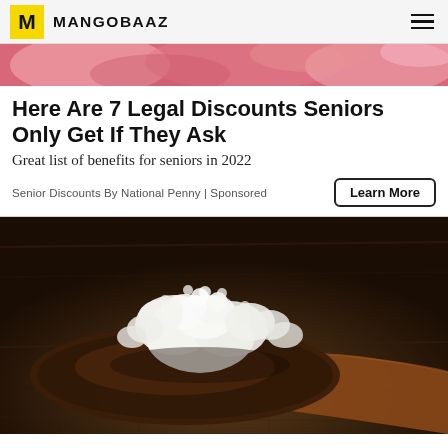MANGOBAAZ
[Figure (photo): Pink floral banner strip image at top of page]
Here Are 7 Legal Discounts Seniors Only Get If They Ask
Great list of benefits for seniors in 2022
Senior Discounts By National Penny | Sponsored
[Figure (photo): Kefir grains piled on a wooden spoon, photographed on a rustic wooden surface with dark moody lighting]